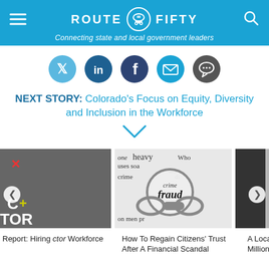ROUTE FIFTY — Connecting state and local government leaders
[Figure (illustration): Social media icons row: Twitter, LinkedIn, Facebook, Email, Chat]
NEXT STORY: Colorado's Focus on Equity, Diversity and Inclusion in the Workforce
[Figure (illustration): Chevron/down arrow]
[Figure (photo): Partially visible article card on left with text CTO / WORKFORCE]
[Figure (photo): Handcuffs on newspaper with magnifying glass showing word 'fraud' and 'crime']
[Figure (photo): Hospital room with curtain, partially visible]
Report: Hiring ctor Workforce
How To Regain Citizens' Trust After A Financial Scandal
A Local Govern... Off Millions In R... Debt